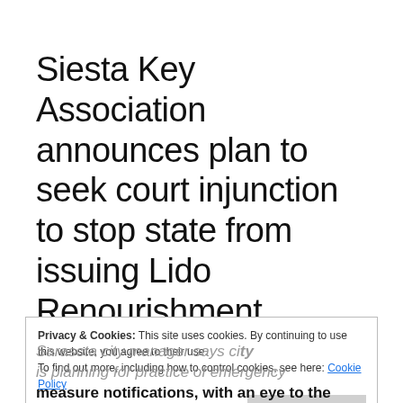Siesta Key Association announces plan to seek court injunction to stop state from issuing Lido Renourishment Project permit
Privacy & Cookies: This site uses cookies. By continuing to use this website, you agree to their use. To find out more, including how to control cookies, see here: Cookie Policy
Sarasota city manager says city is planning for practice of emergency measure notifications, with an eye to the